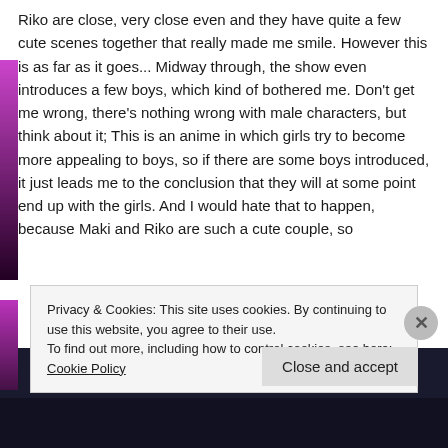Riko are close, very close even and they have quite a few cute scenes together that really made me smile. However this is as far as it goes... Midway through, the show even introduces a few boys, which kind of bothered me. Don't get me wrong, there's nothing wrong with male characters, but think about it; This is an anime in which girls try to become more appealing to boys, so if there are some boys introduced, it just leads me to the conclusion that they will at some point end up with the girls. And I would hate that to happen, because Maki and Riko are such a cute couple, so
Privacy & Cookies: This site uses cookies. By continuing to use this website, you agree to their use.
To find out more, including how to control cookies, see here: Cookie Policy
Close and accept